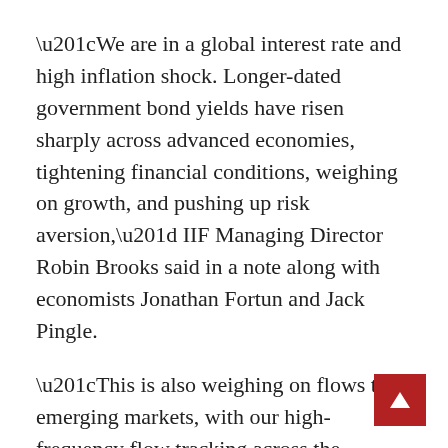“We are in a global interest rate and high inflation shock. Longer-dated government bond yields have risen sharply across advanced economies, tightening financial conditions, weighing on growth, and pushing up risk aversion,” IIF Managing Director Robin Brooks said in a note along with economists Jonathan Fortun and Jack Pingle.
“This is also weighing on flows to emerging markets, with our high-frequency flow tracking across the world’s biggest EMs registering outflows similar in scale to the RMB devaluation scare in 2015 and 2016,” Brookes said.